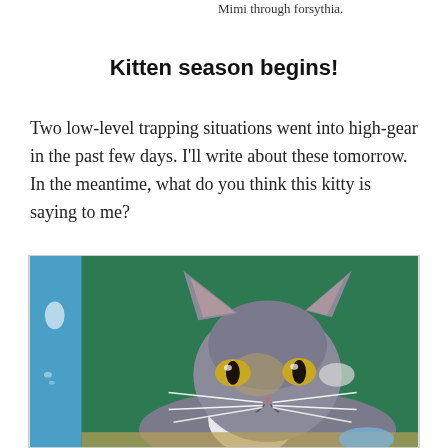Mimi through forsythia.
Kitten season begins!
Two low-level trapping situations went into high-gear in the past few days. I'll write about these tomorrow. In the meantime, what do you think this kitty is saying to me?
[Figure (photo): A gray and white cat with yellow-green eyes looking directly at the camera, positioned near a blue pole with a green background behind it. The cat has prominent whiskers and a serious expression.]